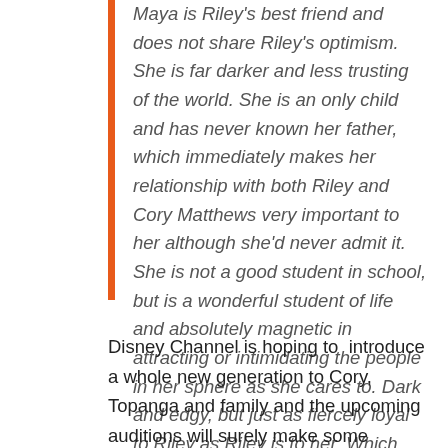Maya is Riley's best friend and does not share Riley's optimism. She is far darker and less trusting of the world. She is an only child and has never known her father, which immediately makes her relationship with both Riley and Cory Matthews very important to her although she'd never admit it. She is not a good student in school, but is a wonderful student of life and absolutely magnetic in attracting or intimidating the people in her sphere as she cares to. Dark and edgy, but just as fiercely loyal to Riley as Riley is to her. Which makes us want to believe that maybe there's a good heart under the acerbic wit. Or maybe not. Series Regular
Disney Channel is hoping to  introduce a whole new generation to Cory, Topanga and family and the upcoming auditions will surely make some teenage actor's dream of